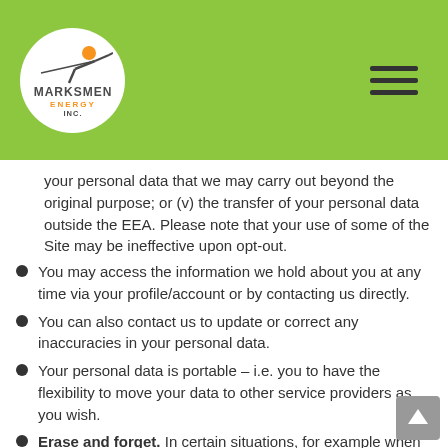[Figure (logo): Marksmen Energy Inc. logo — circular white logo with company name on green header background]
your personal data that we may carry out beyond the original purpose; or (v) the transfer of your personal data outside the EEA. Please note that your use of some of the Site may be ineffective upon opt-out.
You may access the information we hold about you at any time via your profile/account or by contacting us directly.
You can also contact us to update or correct any inaccuracies in your personal data.
Your personal data is portable – i.e. you to have the flexibility to move your data to other service providers as you wish.
Erase and forget. In certain situations, for example when the information we hold about you is no longer